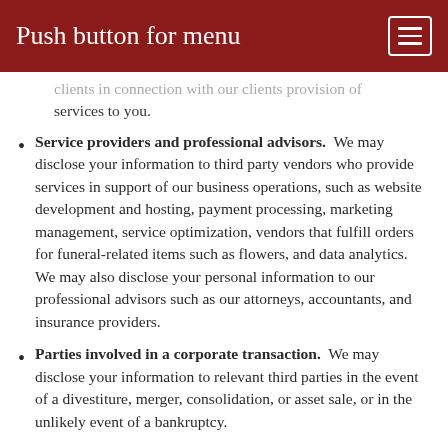Push button for menu
clients in connection with our clients provision of services to you.
Service providers and professional advisors. We may disclose your information to third party vendors who provide services in support of our business operations, such as website development and hosting, payment processing, marketing management, service optimization, vendors that fulfill orders for funeral-related items such as flowers, and data analytics. We may also disclose your personal information to our professional advisors such as our attorneys, accountants, and insurance providers.
Parties involved in a corporate transaction. We may disclose your information to relevant third parties in the event of a divestiture, merger, consolidation, or asset sale, or in the unlikely event of a bankruptcy.
Law enforcement or other governmental